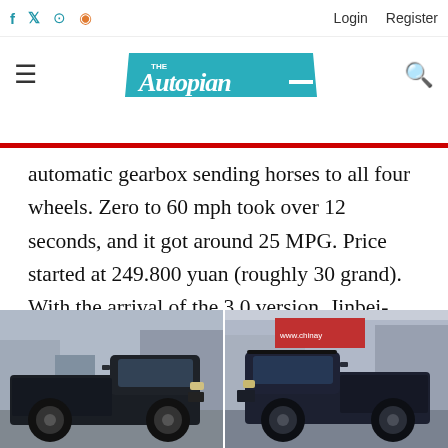The Autopian — Login Register
automatic gearbox sending horses to all four wheels. Zero to 60 mph took over 12 seconds, and it got around 25 MPG. Price started at 249.800 yuan (roughly 30 grand). With the arrival of the 3.0 version, Jinbei-GM adjusted the price of the 2.4 version to 214.800 yuan ($26,000, roughly), a drop of 11%.
[Figure (photo): Two black pickup trucks photographed side by side — left shows a dark pickup truck from a front-left angle in a parking or street setting, right shows another dark navy blue pickup truck from a front-right angle in an urban setting.]